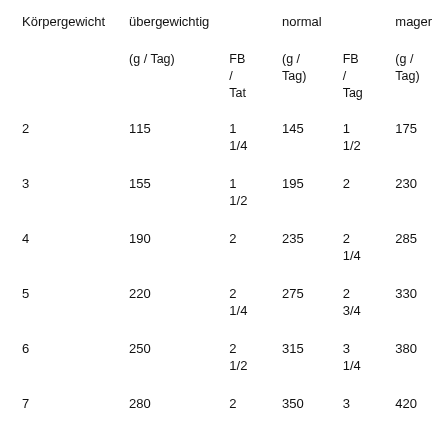| Körpergewicht | übergewichtig (g / Tag) | FB / Tat | (g / Tag) | FB / Tag | (g / Tag) |
| --- | --- | --- | --- | --- | --- |
| 2 | 115 | 1 1/4 | 145 | 1 1/2 | 175 |
| 3 | 155 | 1 1/2 | 195 | 2 | 230 |
| 4 | 190 | 2 | 235 | 2 1/4 | 285 |
| 5 | 220 | 2 1/4 | 275 | 2 3/4 | 330 |
| 6 | 250 | 2 1/2 | 315 | 3 1/4 | 380 |
| 7 | 280 | 2 | 350 | 3 | 420 |